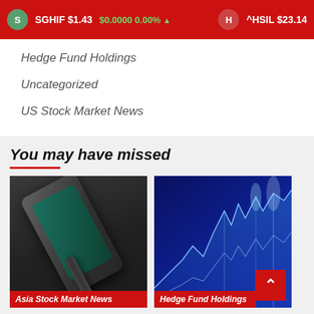SGHIF $1.43 $0.0000 0.00% ▲   ^HSIL $23.14
Hedge Fund Holdings
Uncategorized
US Stock Market News
You may have missed
[Figure (photo): Close-up photo of a smartphone with a charging cable on a dark surface, with a red label overlay reading 'Asia Stock Market News']
[Figure (photo): Stock market chart displayed on a blue-lit screen with glowing graph lines, with a red label overlay reading 'Hedge Fund Holdings']